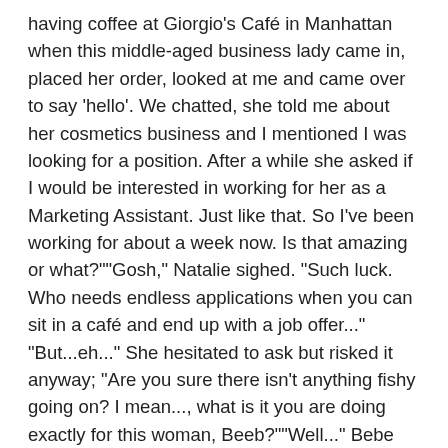having coffee at Giorgio's Café in Manhattan when this middle-aged business lady came in, placed her order, looked at me and came over to say 'hello'. We chatted, she told me about her cosmetics business and I mentioned I was looking for a position. After a while she asked if I would be interested in working for her as a Marketing Assistant. Just like that. So I've been working for about a week now. Is that amazing or what?""Gosh," Natalie sighed. "Such luck. Who needs endless applications when you can sit in a café and end up with a job offer..." "But...eh..." She hesitated to ask but risked it anyway; "Are you sure there isn't anything fishy going on? I mean..., what is it you are doing exactly for this woman, Beeb?""Well..." Bebe said, while moving closer to Natalie; "I'm part of her product marketing team of course, and..., well, I'm eh... maintaining customer contacts. I'll keep her, mainly female, important clients happy. So I go to parties, events, lunches and meetings. It's an exclusive network of some sort that I've fallen into."Bebe noticed the puzzled look on Natalie's face. "Look..." she said tentatively; "I'm going to a Manhattan club, 'The Scarlett Room', with